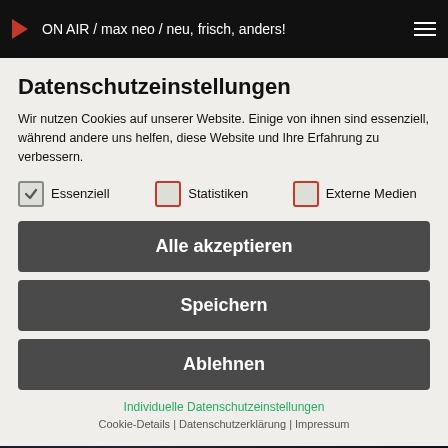ON AIR / max neo / neu, frisch, anders!
Datenschutzeinstellungen
Wir nutzen Cookies auf unserer Website. Einige von ihnen sind essenziell, während andere uns helfen, diese Website und Ihre Erfahrung zu verbessern.
Essenziell
Statistiken
Externe Medien
Alle akzeptieren
Speichern
Ablehnen
Individuelle Datenschutzeinstellungen
Cookie-Details | Datenschutzerklärung | Impressum